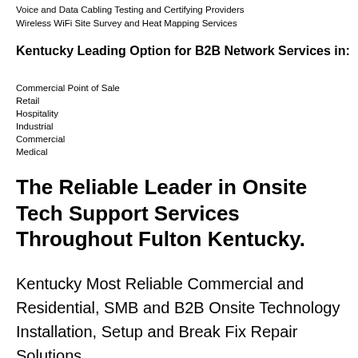Voice and Data Cabling Testing and Certifying Providers
Wireless WiFi Site Survey and Heat Mapping Services
Kentucky Leading Option for B2B Network Services in:
Commercial Point of Sale
Retail
Hospitality
Industrial
Commercial
Medical
The Reliable Leader in Onsite Tech Support Services Throughout Fulton Kentucky.
Kentucky Most Reliable Commercial and Residential, SMB and B2B Onsite Technology Installation, Setup and Break Fix Repair Solutions.